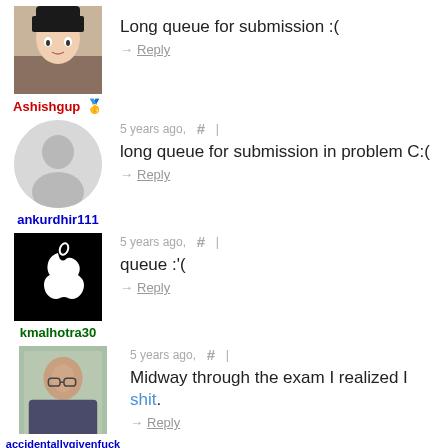[Figure (screenshot): Comment section from a coding contest platform showing 4 user comments about long submission queues and exam difficulties. Users: Ashishgup, ankurdhir111, kmalhotra30, accidentallygivenfuck.]